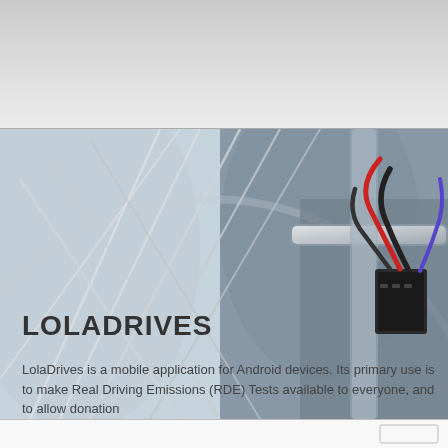[Figure (photo): Close-up photo of bicycle wheel spokes (silver, metallic) with electronic wiring and a small black device attached — red and black cables visible against blurred background]
LOLADRIVES
LolaDrives is a mobile application for Android devices. Its primary use is to make Real Driving Emissions (RDE) Tests available to everyone, and to allow donation